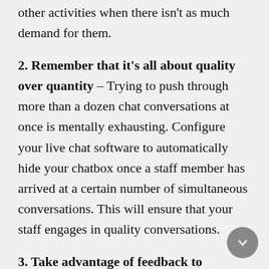other activities when there isn't as much demand for them.
2. Remember that it's all about quality over quantity – Trying to push through more than a dozen chat conversations at once is mentally exhausting. Configure your live chat software to automatically hide your chatbox once a staff member has arrived at a certain number of simultaneous conversations. This will ensure that your staff engages in quality conversations.
3. Take advantage of feedback to improve your business – Feedback is the most valuable resource that a business can have. Take a look at